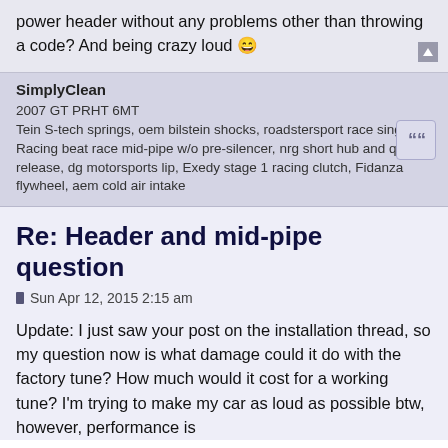power header without any problems other than throwing a code? And being crazy loud 😀
2007 GT PRHT 6MT
Tein S-tech springs, oem bilstein shocks, roadstersport race single, Racing beat race mid-pipe w/o pre-silencer, nrg short hub and quick release, dg motorsports lip, Exedy stage 1 racing clutch, Fidanza flywheel, aem cold air intake
SimplyClean
Re: Header and mid-pipe question
Sun Apr 12, 2015 2:15 am
Update: I just saw your post on the installation thread, so my question now is what damage could it do with the factory tune? How much would it cost for a working tune? I'm trying to make my car as loud as possible btw, however, performance is